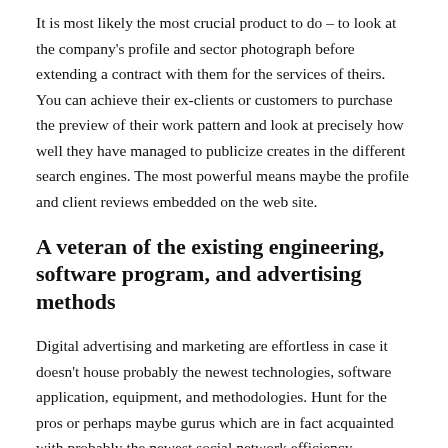It is most likely the most crucial product to do – to look at the company's profile and sector photograph before extending a contract with them for the services of theirs. You can achieve their ex-clients or customers to purchase the preview of their work pattern and look at precisely how well they have managed to publicize creates in the different search engines. The most powerful means maybe the profile and client reviews embedded on the web site.
A veteran of the existing engineering, software program, and advertising methods
Digital advertising and marketing are effortless in case it doesn't house probably the newest technologies, software application, equipment, and methodologies. Hunt for the pros or perhaps maybe gurus which are in fact acquainted with probably the newest social network efficiency